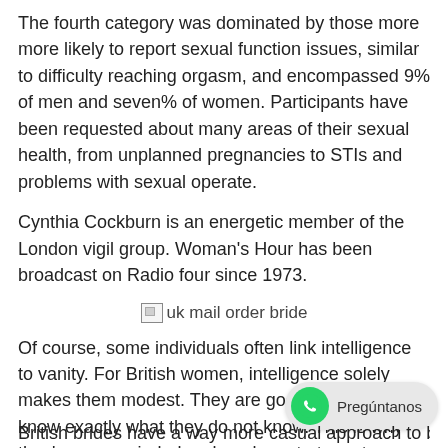The fourth category was dominated by those more more likely to report sexual function issues, similar to difficulty reaching orgasm, and encompassed 9% of men and seven% of women. Participants have been requested about many areas of their sexual health, from unplanned pregnancies to STIs and problems with sexual operate.
Cynthia Cockburn is an energetic member of the London vigil group. Woman's Hour has been broadcast on Radio four since 1973.
[Figure (other): Broken image placeholder with alt text 'uk mail order bride']
Of course, some individuals often link intelligence to vanity. For British women, intelligence solely makes them modest. They are good, and so they know exactly what they do not know. This is why they're open-minded and are keen to try out new things.
British brides have a way more casual approach to beauty